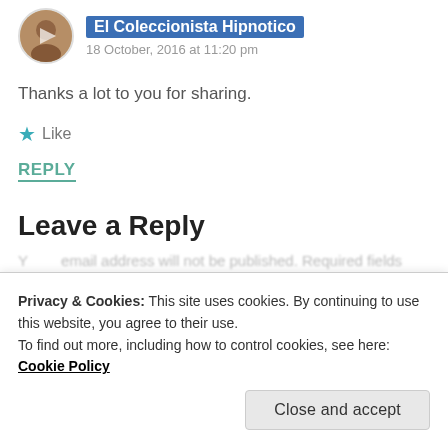[Figure (photo): Circular avatar photo of user El Coleccionista Hipnotico]
El Coleccionista Hipnotico
18 October, 2016 at 11:20 pm
Thanks a lot to you for sharing.
★ Like
REPLY
Leave a Reply
Your email address will not be published. Required fields are marked *
Privacy & Cookies: This site uses cookies. By continuing to use this website, you agree to their use.
To find out more, including how to control cookies, see here: Cookie Policy
Close and accept